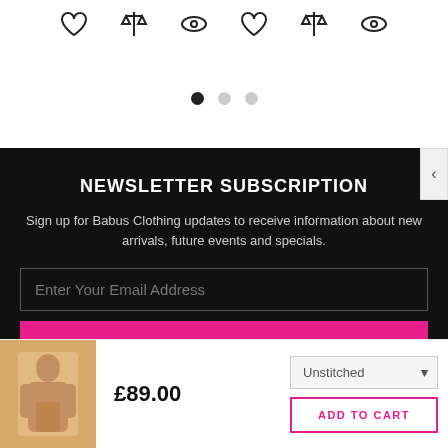[Figure (illustration): Row of outline icons: heart/wishlist, scales/balance, eye/view icons repeated twice, shown at top of page]
[Figure (other): Carousel pagination dots: one filled black dot and two empty grey dots]
NEWSLETTER SUBSCRIPTION
Sign up for Babus Clothing updates to receive information about new arrivals, future events and specials.
Enter Your Email Address
SUBSCRIBE!
[Figure (photo): Product thumbnail showing a woman in traditional South Asian clothing (salwar kameez) in peach/orange color]
£89.00
Unstitched
ADD TO CART